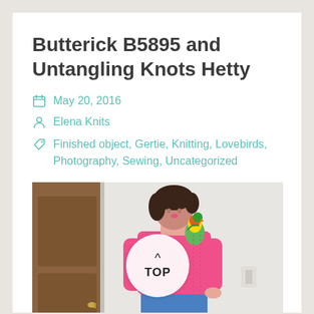Butterick B5895 and Untangling Knots Hetty
May 20, 2016
Elena Knits
Finished object, Gertie, Knitting, Lovebirds, Photography, Sewing, Uncategorized
[Figure (photo): Woman wearing a bright pink knitted cardigan and blue skirt, with a colorful parrot (lovebird) on her shoulder, standing near a wooden door. A circular 'TOP' button overlay is centered on the image.]